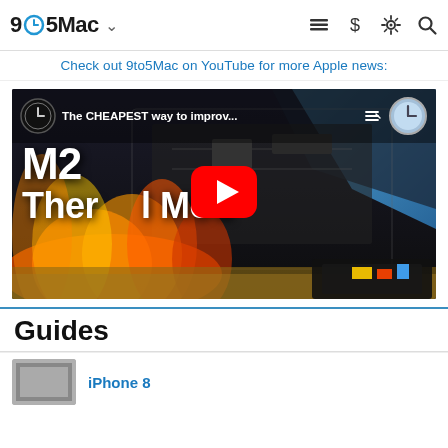9to5Mac
Check out 9to5Mac on YouTube for more Apple news:
[Figure (screenshot): YouTube video thumbnail for 'The CHEAPEST way to improv...' showing M2 Thermal Mod with flames and laptop internals, with red YouTube play button overlay]
Guides
iPhone 8